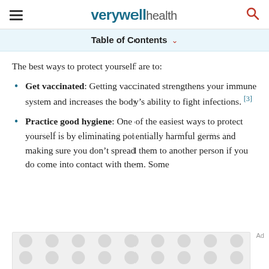verywell health
Table of Contents
The best ways to protect yourself are to:
Get vaccinated: Getting vaccinated strengthens your immune system and increases the body's ability to fight infections. [3]
Practice good hygiene: One of the easiest ways to protect yourself is by eliminating potentially harmful germs and making sure you don't spread them to another person if you do come into contact with them. Some